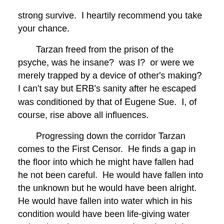strong survive.  I heartily recommend you take your chance.
Tarzan freed from the prison of the psyche, was he insane?  was I?  or were we merely trapped by a device of other's making?  I can't say but ERB's sanity after he escaped was conditioned by that of Eugene Sue.  I, of course, rise above all influences.
Progressing down the corridor Tarzan comes to the First Censor.  He finds a gap in the floor into which he might have fallen had he not been careful.  He would have fallen into the unknown but he would have been alright.  He would have fallen into water which in his condition would have been life-giving water rather than dangerous or perhaps he might have drowned in the waters of the subcoscious or Oblivion.